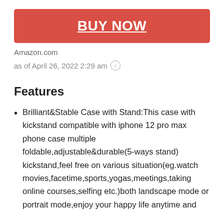[Figure (other): BUY NOW button, red/coral background with white bold underlined text]
Amazon.com
as of April 26, 2022 2:29 am ⓘ
Features
Brilliant&Stable Case with Stand:This case with kickstand compatible with iphone 12 pro max phone case multiple foldable,adjustable&durable(5-ways stand) kickstand,feel free on various situation(eg.watch movies,facetime,sports,yogas,meetings,taking online courses,selfing etc.)both landscape mode or portrait mode,enjoy your happy life anytime and